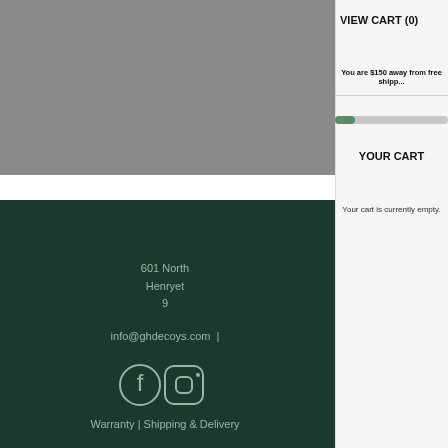VIEW CART (0)
You are $150 away from free shipping
YOUR CART
Your cart is currently empty.
601 North
Henryet
9
info@ghdecoys.com
Warranty | Shipping & Delivery